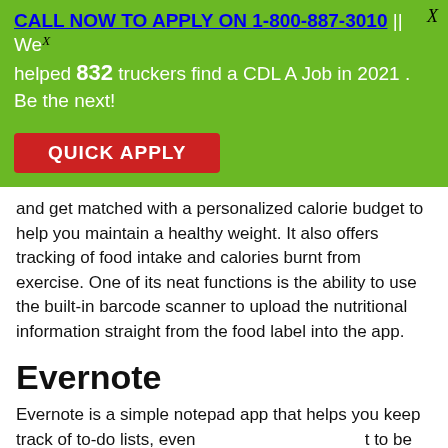[Figure (other): Green advertisement banner with call-to-action link, text about helping truckers find CDL A jobs, and a red Quick Apply button. Includes a close (X) button in top right.]
and get matched with a personalized calorie budget to help you maintain a healthy weight. It also offers tracking of food intake and calories burnt from exercise. One of its neat functions is the ability to use the built-in barcode scanner to upload the nutritional information straight from the food label into the app.
Evernote
Evernote is a simple notepad app that helps you keep track of to-do lists, events, and anything you want to be reminded about, really.
Privacy & Cookies Policy